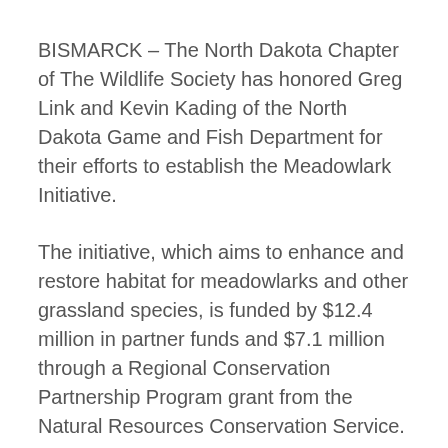BISMARCK – The North Dakota Chapter of The Wildlife Society has honored Greg Link and Kevin Kading of the North Dakota Game and Fish Department for their efforts to establish the Meadowlark Initiative.
The initiative, which aims to enhance and restore habitat for meadowlarks and other grassland species, is funded by $12.4 million in partner funds and $7.1 million through a Regional Conservation Partnership Program grant from the Natural Resources Conservation Service.
Link is the Game and Fish Department's conservation and communications chief, and Kading is the department's private lands section leader. They were honored with the Wildlife Society Chapter's Special Award for their efforts on behalf of the initiative.